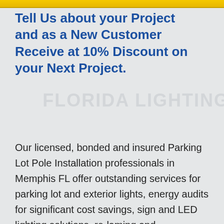Tell Us about your Project and as a New Customer Receive at 10% Discount on your Next Project.
Our licensed, bonded and insured Parking Lot Pole Installation professionals in Memphis FL offer outstanding services for parking lot and exterior lights, energy audits for significant cost savings, sign and LED lighting solutions, re-laming and